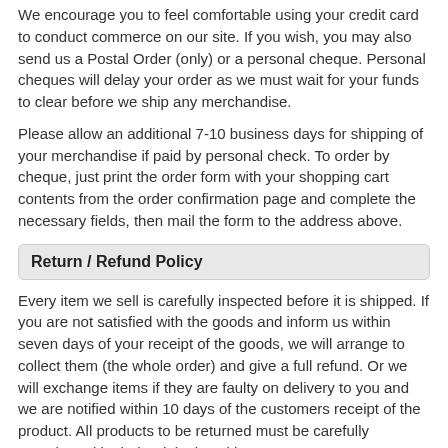We encourage you to feel comfortable using your credit card to conduct commerce on our site. If you wish, you may also send us a Postal Order (only) or a personal cheque. Personal cheques will delay your order as we must wait for your funds to clear before we ship any merchandise.
Please allow an additional 7-10 business days for shipping of your merchandise if paid by personal check. To order by cheque, just print the order form with your shopping cart contents from the order confirmation page and complete the necessary fields, then mail the form to the address above.
Return / Refund Policy
Every item we sell is carefully inspected before it is shipped. If you are not satisfied with the goods and inform us within seven days of your receipt of the goods, we will arrange to collect them (the whole order) and give a full refund. Or we will exchange items if they are faulty on delivery to you and we are notified within 10 days of the customers receipt of the product. All products to be returned must be carefully repackaged in their original packing.
Delivery Information
Delivery charges are calculated on a per-product basis. Please make note of the delivery charges associated with each item.